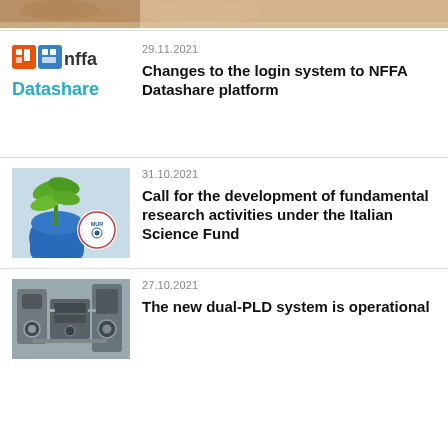[Figure (photo): Partial view of a cat or animal photo cropped at top of page]
29.11.2021
[Figure (logo): NFFA Datashare logo with orange and blue icon squares and teal Datashare text]
Changes to the login system to NFFA Datashare platform
31.10.2021
[Figure (photo): Gloved blue hand holding green plant leaves with MUR circular logo overlay]
Call for the development of fundamental research activities under the Italian Science Fund
27.10.2021
[Figure (photo): Industrial scientific equipment, dual-PLD system machinery]
The new dual-PLD system is operational